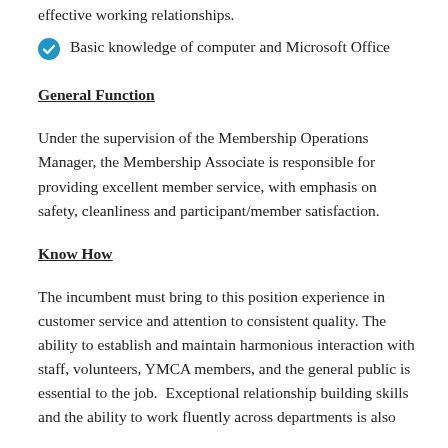Basic knowledge of computer and Microsoft Office
General Function
Under the supervision of the Membership Operations Manager, the Membership Associate is responsible for providing excellent member service, with emphasis on safety, cleanliness and participant/member satisfaction.
Know How
The incumbent must bring to this position experience in customer service and attention to consistent quality. The ability to establish and maintain harmonious interaction with staff, volunteers, YMCA members, and the general public is essential to the job.  Exceptional relationship building skills and the ability to work fluently across departments is also